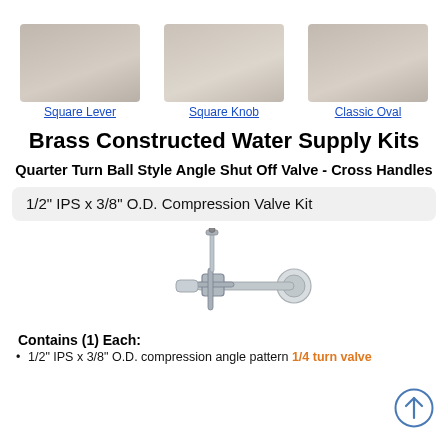[Figure (photo): Three valve handle styles shown: Square Lever, Square Knob, Classic Oval - all in brushed nickel/taupe finish]
Square Lever
Square Knob
Classic Oval
Brass Constructed Water Supply Kits
Quarter Turn Ball Style Angle Shut Off Valve - Cross Handles
1/2" IPS x 3/8" O.D. Compression Valve Kit
[Figure (photo): Chrome quarter-turn ball style angle shut off valve with cross handle, showing compression fitting and wall plate]
Contains (1) Each:
1/2" IPS x 3/8" O.D. compression angle pattern 1/4 turn valve